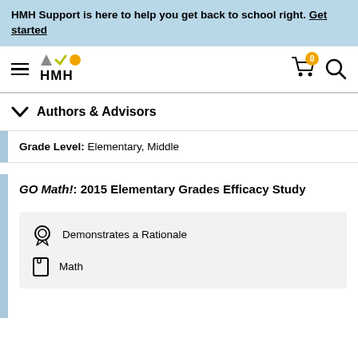HMH Support is here to help you get back to school right. Get started
[Figure (logo): HMH logo with triangle, checkmark, and circle shapes above HMH text, hamburger menu icon, cart icon with badge 0, search icon]
Authors & Advisors
Grade Level: Elementary, Middle
GO Math!: 2015 Elementary Grades Efficacy Study
Demonstrates a Rationale
Math